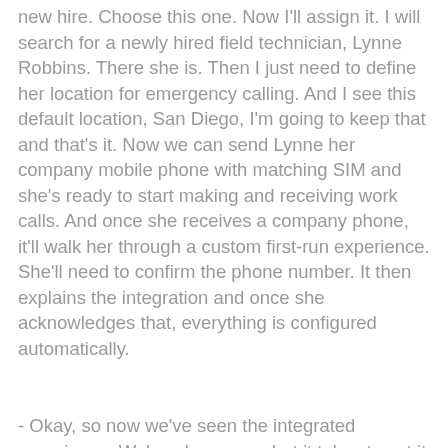new hire. Choose this one. Now I'll assign it. I will search for a newly hired field technician, Lynne Robbins. There she is. Then I just need to define her location for emergency calling. And I see this default location, San Diego, I'm going to keep that and that's it. Now we can send Lynne her company mobile phone with matching SIM and she's ready to start making and receiving work calls. And once she receives a company phone, it'll walk her through a custom first-run experience. She'll need to confirm the phone number. It then explains the integration and once she acknowledges that, everything is configured automatically.
- Okay, so now we've seen the integrated experience. We've also seen what it takes to set it up. But you mentioned also enterprise-grade security before. So, what are some of the policies there I can enforce?